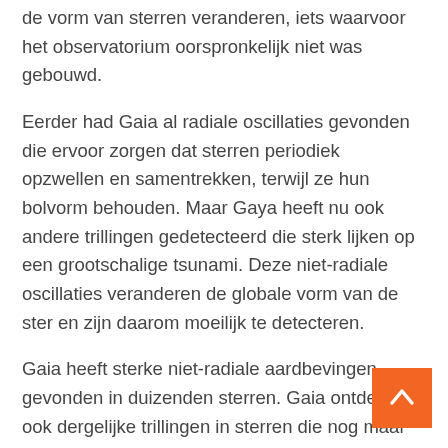de vorm van sterren veranderen, iets waarvoor het observatorium oorspronkelijk niet was gebouwd.
Eerder had Gaia al radiale oscillaties gevonden die ervoor zorgen dat sterren periodiek opzwellen en samentrekken, terwijl ze hun bolvorm behouden. Maar Gaya heeft nu ook andere trillingen gedetecteerd die sterk lijken op een grootschalige tsunami. Deze niet-radiale oscillaties veranderen de globale vorm van de ster en zijn daarom moeilijk te detecteren.
Gaia heeft sterke niet-radiale aardbevingen gevonden in duizenden sterren. Gaia ontdekte ook dergelijke trillingen in sterren die nog maar zelden waren waargenomen. Deze sterren zouden volgens de huidige theorie geen aardbevingen moeten hebben, terwijl ze op hun oppervlak detecteerde.